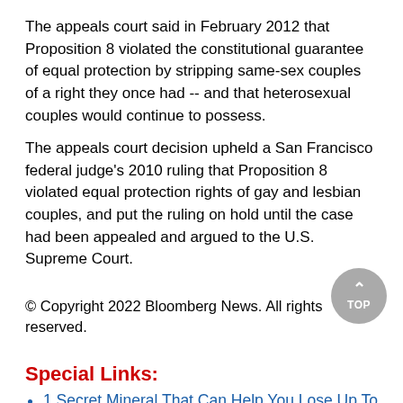The appeals court said in February 2012 that Proposition 8 violated the constitutional guarantee of equal protection by stripping same-sex couples of a right they once had -- and that heterosexual couples would continue to possess.
The appeals court decision upheld a San Francisco federal judge’s 2010 ruling that Proposition 8 violated equal protection rights of gay and lesbian couples, and put the ruling on hold until the case had been appealed and argued to the U.S. Supreme Court.
© Copyright 2022 Bloomberg News. All rights reserved.
Special Links:
1 Secret Mineral That Can Help You Lose Up To 52 Lbs.
Is Ex-President Trump Aware of this Biblical Bombshell?
Biden Coming After All ‘Assault’ Weapons, Not Just Your Guns?
Is Bill Gates Planning the Next Pandemic?
This Protein Helps Restore Youth to Hair, Skin, and